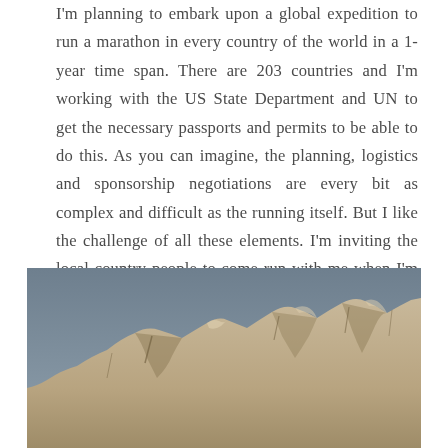I'm planning to embark upon a global expedition to run a marathon in every country of the world in a 1-year time span. There are 203 countries and I'm working with the US State Department and UN to get the necessary passports and permits to be able to do this. As you can imagine, the planning, logistics and sponsorship negotiations are every bit as complex and difficult as the running itself. But I like the challenge of all these elements. I'm inviting the local country people to come run with me when I'm visiting. It might be naive of me, but I think humanity could use something like this right now. Let's stop fighting with each other and start running together. This is my small contribution to the world I love.
[Figure (photo): Photograph of rocky mountain peaks against a grey-blue sky, showing pale sandy-coloured rocky ridgeline.]